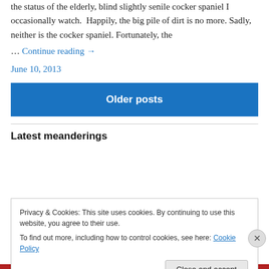the status of the elderly, blind slightly senile cocker spaniel I occasionally watch.  Happily, the big pile of dirt is no more. Sadly, neither is the cocker spaniel. Fortunately, the
… Continue reading →
June 10, 2013
Older posts
Latest meanderings
Privacy & Cookies: This site uses cookies. By continuing to use this website, you agree to their use.
To find out more, including how to control cookies, see here: Cookie Policy
Close and accept